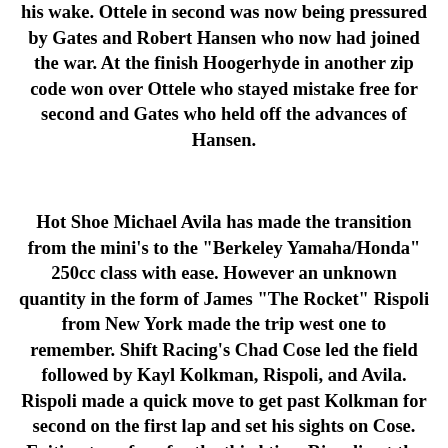his wake. Ottele in second was now being pressured by Gates and Robert Hansen who now had joined the war. At the finish Hoogerhyde in another zip code won over Ottele who stayed mistake free for second and Gates who held off the advances of Hansen.
Hot Shoe Michael Avila has made the transition from the mini's to the "Berkeley Yamaha/Honda" 250cc class with ease. However an unknown quantity in the form of James "The Rocket" Rispoli from New York made the trip west one to remember. Shift Racing's Chad Cose led the field followed by Kayl Kolkman, Rispoli, and Avila. Rispoli made a quick move to get past Kolkman for second on the first lap and set his sights on Cose. Exiting turn four for the third time Rispoli got the drive and took the lead from a stunned Cose. Rispoli then turned a 22.21/100 second lap in route to his victory with